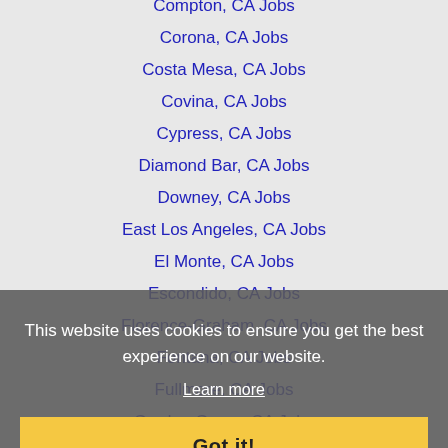Compton, CA Jobs
Corona, CA Jobs
Costa Mesa, CA Jobs
Covina, CA Jobs
Cypress, CA Jobs
Diamond Bar, CA Jobs
Downey, CA Jobs
East Los Angeles, CA Jobs
El Monte, CA Jobs
Escondido, CA Jobs
Florence-Graham, CA Jobs
Fontana, CA Jobs
Fullmore, CA Jobs
Garden Grove, CA Jobs
Gardena, CA Jobs
Glendale, CA Jobs
Glendora, CA Jobs
This website uses cookies to ensure you get the best experience on our website.
Learn more
Got it!